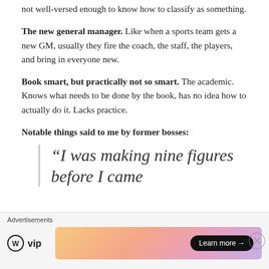not well-versed enough to know how to classify as something.
The new general manager. Like when a sports team gets a new GM, usually they fire the coach, the staff, the players, and bring in everyone new.
Book smart, but practically not so smart. The academic. Knows what needs to be done by the book, has no idea how to actually do it. Lacks practice.
Notable things said to me by former bosses:
“I was making nine figures before I came
Advertisements